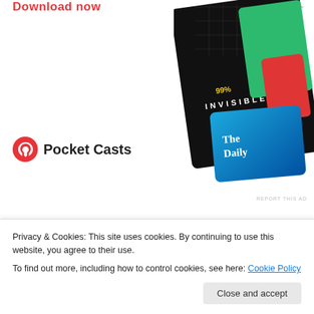[Figure (other): Pocket Casts advertisement with 'Download now' text in red, Pocket Casts logo (circular red icon + bold text), and podcast cards (99% Invisible, The Daily) on dark background at right]
February 21, 2014
Leave a Reply
new orleans
[Figure (photo): Partial photo showing a dark street scene with signs]
Privacy & Cookies: This site uses cookies. By continuing to use this website, you agree to their use.
To find out more, including how to control cookies, see here: Cookie Policy
Close and accept